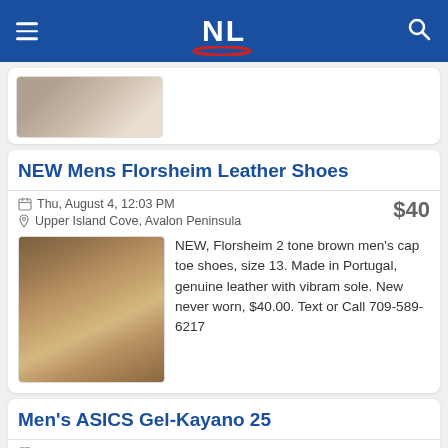NL
[Figure (photo): Partial product image of shoes, cropped at top of card]
NEW Mens Florsheim Leather Shoes
Thu, August 4, 12:03 PM
Upper Island Cove, Avalon Peninsula
$40
[Figure (photo): Photo of Florsheim 2-tone brown leather men's cap toe shoes on a red background]
NEW, Florsheim 2 tone brown men's cap toe shoes, size 13. Made in Portugal, genuine leather with vibram sole. New never worn, $40.00. Text or Call 709-589-6217
Men's ASICS Gel-Kayano 25
Wed, August 3, 4:30 PM
St.John's, Avalon Peninsula